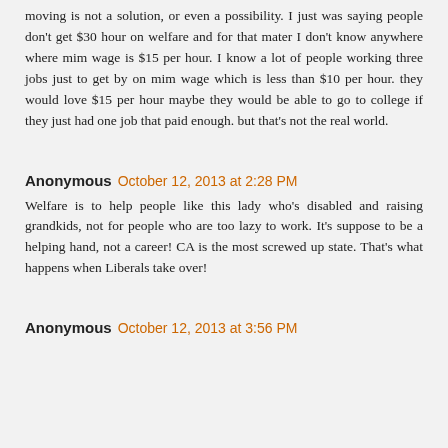moving is not a solution, or even a possibility. I just was saying people don't get $30 hour on welfare and for that mater I don't know anywhere where mim wage is $15 per hour. I know a lot of people working three jobs just to get by on mim wage which is less than $10 per hour. they would love $15 per hour maybe they would be able to go to college if they just had one job that paid enough. but that's not the real world.
Anonymous October 12, 2013 at 2:28 PM
Welfare is to help people like this lady who's disabled and raising grandkids, not for people who are too lazy to work. It's suppose to be a helping hand, not a career! CA is the most screwed up state. That's what happens when Liberals take over!
Anonymous October 12, 2013 at 3:56 PM